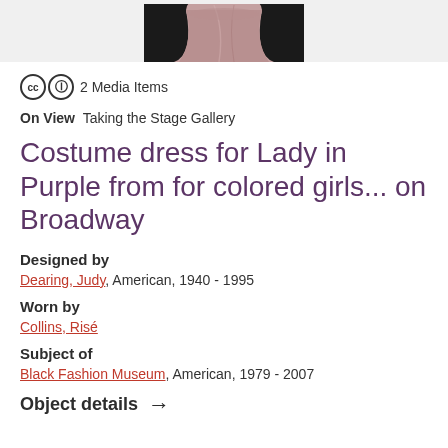[Figure (photo): Partial view of a pink/mauve costume dress against a dark background]
2 Media Items
On View  Taking the Stage Gallery
Costume dress for Lady in Purple from for colored girls... on Broadway
Designed by
Dearing, Judy, American, 1940 - 1995
Worn by
Collins, Risé
Subject of
Black Fashion Museum, American, 1979 - 2007
Object details →